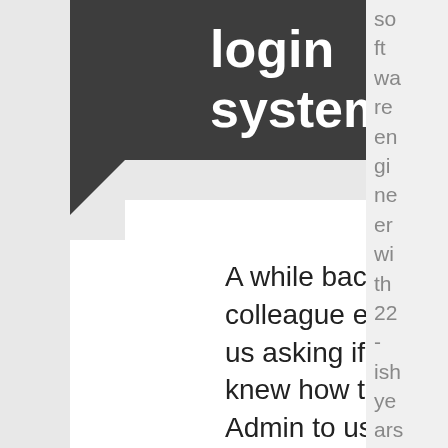login system!
A while back, a colleague emailed us asking if anyone knew how to get CF Admin to use LDAP for authentication instead of it's own private data store. It wasn't a question any of us had any experience
software engineer with 22-ish years of fairly diverse